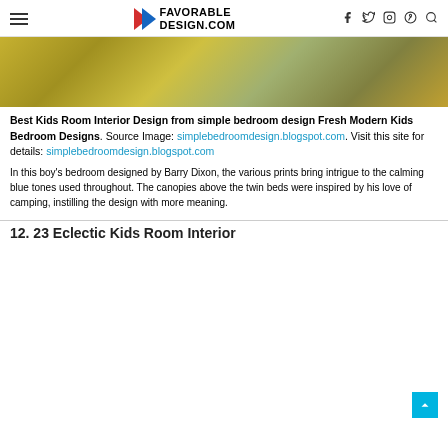FAVORABLE DESIGN.COM
[Figure (photo): Partial view of a kids room interior showing a colorful yellow/green patterned rug on a light floor near a window]
Best Kids Room Interior Design from simple bedroom design Fresh Modern Kids Bedroom Designs. Source Image: simplebedroomdesign.blogspot.com. Visit this site for details: simplebedroomdesign.blogspot.com
In this boy’s bedroom designed by Barry Dixon, the various prints bring intrigue to the calming blue tones used throughout. The canopies above the twin beds were inspired by his love of camping, instilling the design with more meaning.
12. 23 Eclectic Kids Room Interior